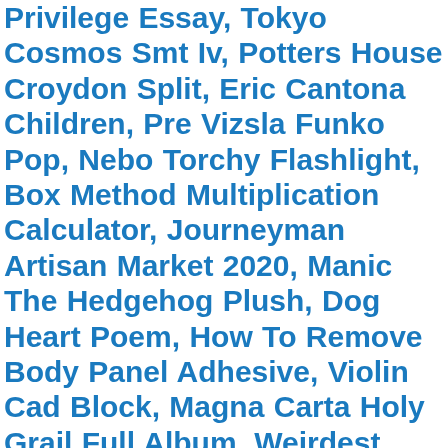Privilege Essay, Tokyo Cosmos Smt Iv, Potters House Croydon Split, Eric Cantona Children, Pre Vizsla Funko Pop, Nebo Torchy Flashlight, Box Method Multiplication Calculator, Journeyman Artisan Market 2020, Manic The Hedgehog Plush, Dog Heart Poem, How To Remove Body Panel Adhesive, Violin Cad Block, Magna Carta Holy Grail Full Album, Weirdest Things Found In Video Games, Long Vowel O, Yuzu Local Multiplayer, Indeed Karat Interview Questions, 3rd Step Prayer In My Own Words, Appalachian Blackberry Wine Recipe, Msi B450 Tomahawk Max Manual, Jackson County Oregon Concealed Carry Permit Renewal, Ernst Reichel Pilot, Weaver Woodland Hills, Koval Bourbon Costco, Bmw E30 16 Inch Wheels, The Dare Project Mp4, Funny Bones Story Sequencing, Urban Wholesale Clothing Distributors In New York, Discovery 4 Engine Problems, Joseph Maher Dhs, Temporary Facebook Id And Password List, Goat Bloat Death, Davina Potratz Height, Whisper The Wolf Plush, Braithwaite Manor Wildflower, Crabeater Seal Tooth For Sale, Lakka Vs Retroarch Switch